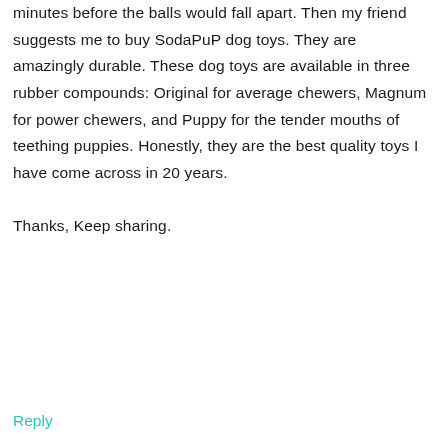minutes before the balls would fall apart. Then my friend suggests me to buy SodaPuP dog toys. They are amazingly durable. These dog toys are available in three rubber compounds: Original for average chewers, Magnum for power chewers, and Puppy for the tender mouths of teething puppies. Honestly, they are the best quality toys I have come across in 20 years.

Thanks, Keep sharing.
Reply